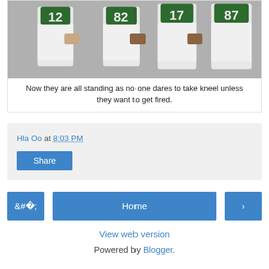[Figure (photo): Green Bay Packers football players in white jerseys with numbers 12, 82, 17, and 87 standing together]
Now they are all standing as no one dares to take kneel unless they want to get fired.
Hla Oo at 8:03 PM
Share
‹
Home
›
View web version
Powered by Blogger.